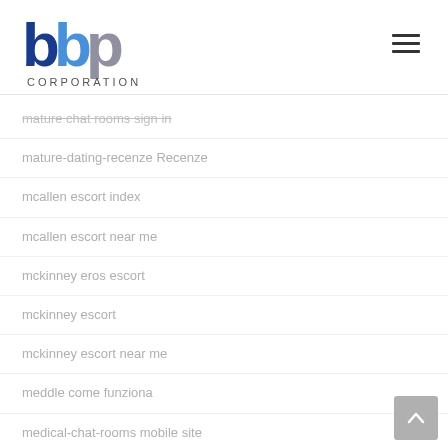bbp CORPORATION
mature chat rooms sign in
mature-dating-recenze Recenze
mcallen escort index
mcallen escort near me
mckinney eros escort
mckinney escort
mckinney escort near me
meddle come funziona
medical-chat-rooms mobile site
medical-dating sign in